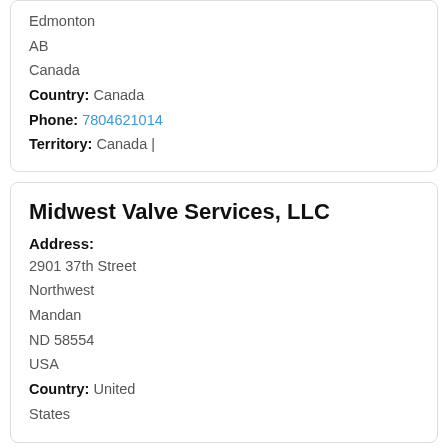Edmonton
AB
Canada
Country: Canada
Phone: 7804621014
Territory: Canada |
Midwest Valve Services, LLC
Address:
2901 37th Street
Northwest
Mandan
ND 58554
USA
Country: United States